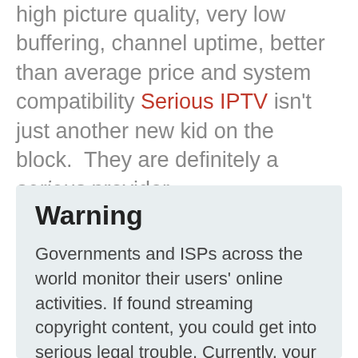high picture quality, very low buffering, channel uptime, better than average price and system compatibility Serious IPTV isn't just another new kid on the block.  They are definitely a serious provider.
Warning
Governments and ISPs across the world monitor their users' online activities. If found streaming copyright content, you could get into serious legal trouble. Currently, your IP 185.191.171.23 is visible to